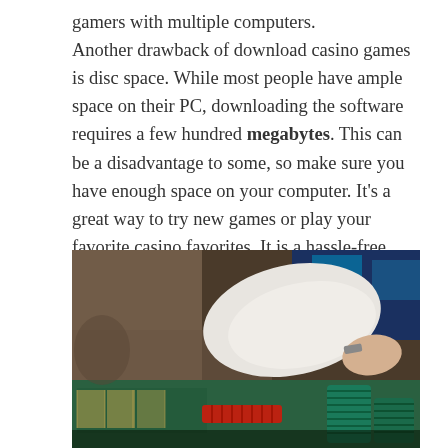gamers with multiple computers. Another drawback of download casino games is disc space. While most people have ample space on their PC, downloading the software requires a few hundred megabytes. This can be a disadvantage to some, so make sure you have enough space on your computer. It's a great way to try new games or play your favorite casino favorites. It is a hassle-free process and the rewards are worthwhile. But you should be aware of the potential dangers.
[Figure (photo): A casino scene showing a dealer's white-shirted arm reaching across a green felt table covered with casino chips (teal/green and red stacks) and betting layouts, with blurred background figures and blue neon lighting.]